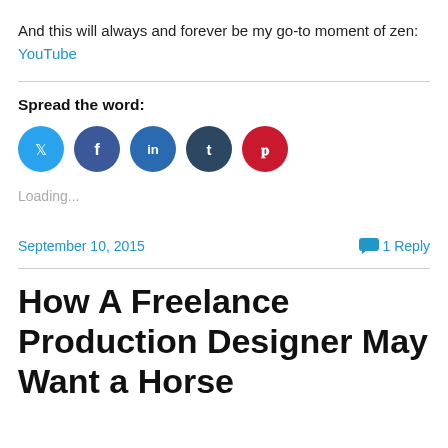And this will always and forever be my go-to moment of zen: YouTube
Spread the word:
[Figure (infographic): Social share buttons: Twitter (light blue circle), Facebook (dark blue circle), LinkedIn (blue circle), Tumblr (dark navy circle), Pinterest (red circle)]
Loading...
September 10, 2015   1 Reply
How A Freelance Production Designer May Want a Horse